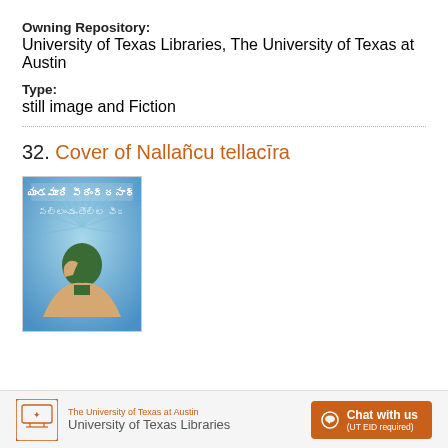Owning Repository: University of Texas Libraries, The University of Texas at Austin
Type: still image and Fiction
32. Cover of Nallañcu tellacīra
[Figure (photo): Book cover of Nallañcu tellacīra showing Telugu text at top, a person seen from behind with their head bowed, blue background with radiating lines.]
The University of Texas at Austin University of Texas Libraries  Chat with us (UT EID required)